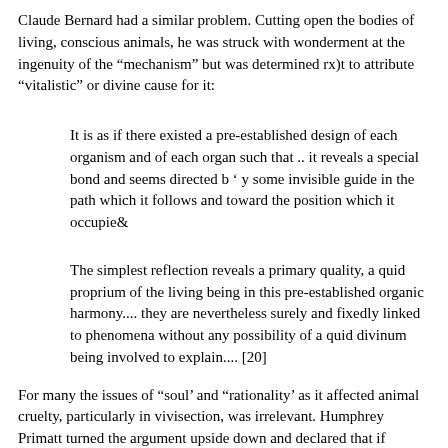Claude Bernard had a similar problem.  Cutting open the bodies of living, conscious animals, he was struck with wonderment at the ingenuity of the "mechanism" but was determined rx)t to attribute "vitalistic" or divine cause for it:
It is as if there existed a pre-established design of each organism and of each organ such that .. it reveals a special bond and seems directed b ' y some invisible guide in the path which it follows and toward the position which it occupie&
The simplest reflection reveals a primary quality, a quid proprium of the living being in this pre-established organic harmony.... they are nevertheless surely and fixedly linked to phenomena without any possibility of a quid divinum being involved to explain.... [20]
For many the issues of "soul' and "rationality' as it affected animal cruelty, particularly in vivisection, was irrelevant.  Humphrey Primatt turned the argument upside down and declared that if animals had no soul, all the more reason to spare them pain in this world, in effect pronouncing the biological life of the animal sufficient reason for showing it mercy.  A contemporary of Descartes, La Fontaine, cried out